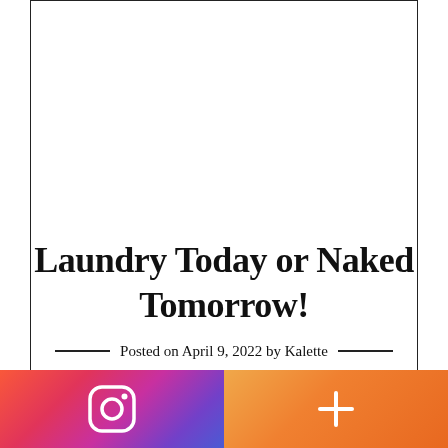[Figure (illustration): White rectangular area with border on left, right, and top sides representing a blank poster/image area.]
Laundry Today or Naked Tomorrow!
Posted on April 9, 2022 by Kalette
[Figure (infographic): Instagram app bar at bottom: left half shows Instagram camera logo icon on gradient background (red/pink/purple/blue), right half shows a plus (+) icon on orange gradient background.]